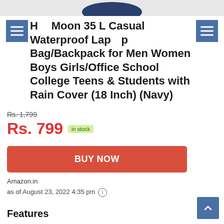[Figure (photo): Top portion of a navy blue backpack product image, cropped at top of page]
H Moon 35 L Casual Waterproof Laptop Bag/Backpack for Men Women Boys Girls/Office School College Teens & Students with Rain Cover (18 Inch) (Navy)
Rs. 1,799
Rs. 799 in stock
BUY NOW
Amazon.in
as of August 23, 2022 4:35 pm
Features
SPACIOUS AND LIGHTWEIGHT: Light weight and spacious